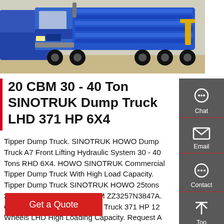[Figure (photo): Blue SINOTRUK HOWO dump trucks parked outdoors on sandy ground]
20 CBM 30 - 40 Ton SINOTRUK Dump Truck LHD 371 HP 6X4
Tipper Dump Truck. SINOTRUK HOWO Dump Truck A7 Front Lifting Hydraulic System 30 - 40 Tons RHD 6X4. HOWO SINOTRUK Commercial Tipper Dump Truck With High Load Capacity. Tipper Dump Truck SINOTRUK HOWO 25tons 371HP 10wheels LHD 25CBM ZZ3257N3847A. Orange Sinotruk Howo Dump Truck 371 HP 12 Wheels LHD High Loading Capacity. Request A Quote
Get a Quote